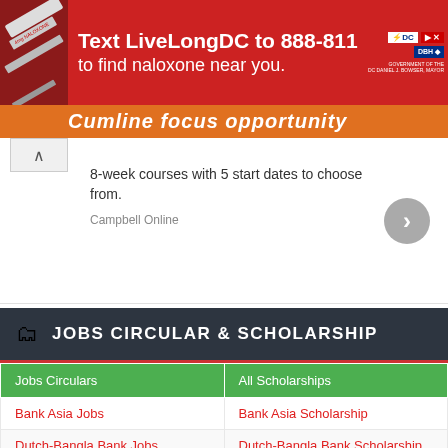[Figure (screenshot): Red ad banner: Text LiveLongDC to 888-811 to find naloxone near you. DC government logos on right.]
[Figure (screenshot): Orange partial ad strip with italic bold text partially visible, collapse arrow button.]
8-week courses with 5 start dates to choose from.
Campbell Online
JOBS CIRCULAR & SCHOLARSHIP
| Jobs Circulars | All Scholarships |
| --- | --- |
| Bank Asia Jobs | Bank Asia Scholarship |
| Dutch-Bangla Bank Jobs | Dutch-Bangla Bank Scholarship |
| BRAC Bank Jobs | BRAC Bank Scholarship |
| Mercantile Bank Jobs | Mercantile Bank Scholarship |
| Prime Bank Jobs | Prime Bank Scholarship |
| Southeast Bank Jobs | Southeast Bank Scholarship |